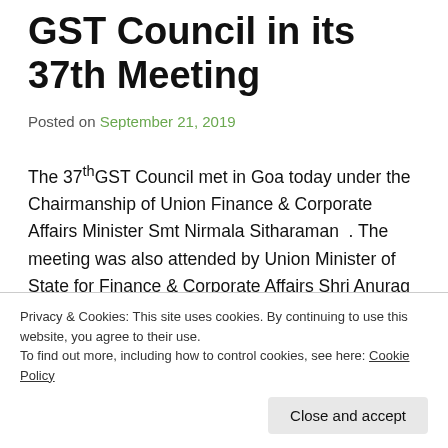GST Council in its 37th Meeting
Posted on September 21, 2019
The 37th GST Council met in Goa today under the Chairmanship of Union Finance & Corporate Affairs Minister Smt Nirmala Sitharaman . The meeting was also attended by Union Minister of State for Finance & Corporate Affairs Shri Anurag Thakur besides Chief Minister of Goa Shri PramodSawant, Finance Ministers of States & UTs and seniors officers of the Ministry of Finance
Privacy & Cookies: This site uses cookies. By continuing to use this website, you agree to their use.
To find out more, including how to control cookies, see here: Cookie Policy